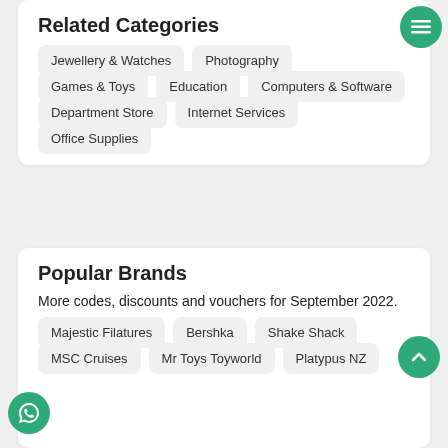Related Categories
Jewellery & Watches
Photography
Games & Toys
Education
Computers & Software
Department Store
Internet Services
Office Supplies
Popular Brands
More codes, discounts and vouchers for September 2022.
Majestic Filatures
Bershka
Shake Shack
MSC Cruises
Mr Toys Toyworld
Platypus NZ